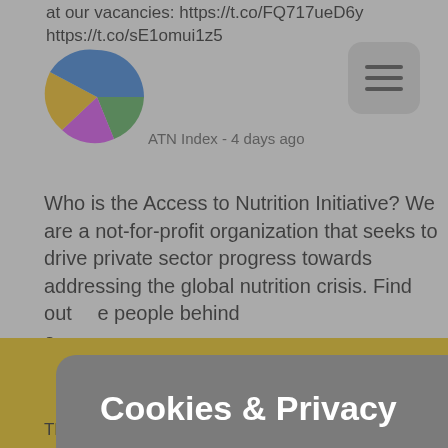at our vacancies: https://t.co/FQ717ueD6y
https://t.co/sE1omui1z5
[Figure (logo): Colorful pie-chart style logo for Access to Nutrition Initiative]
ATN Index - 4 days ago
Who is the Access to Nutrition Initiative? We are a not-for-profit organization that seeks to drive private sector progress towards addressing the global nutrition crisis. Find out more about the people behind our work: https://...
Functional
Analytics
Cookies & Privacy
We use cookies for the best experience
Accept all
Accept
healthy, affordable
The Access to Nutrition Initiative's core funders are: